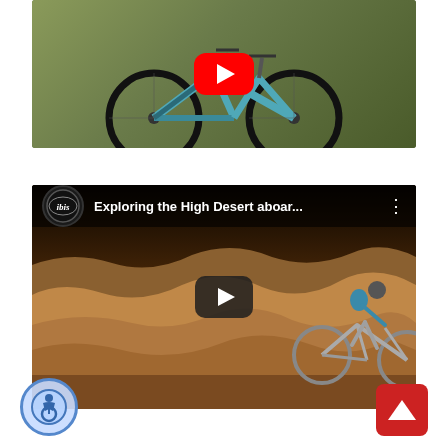[Figure (screenshot): YouTube video thumbnail showing a teal/blue mountain bike photographed against an olive/green background, with a red YouTube play button overlay in the center.]
[Figure (screenshot): YouTube video embed with title 'Exploring the High Desert aboar...' from the Ibis channel (black circle logo with italic ibis text). Shows a mountain biker in blue helmet and shirt riding on rocky desert terrain. Dark play button overlay in center.]